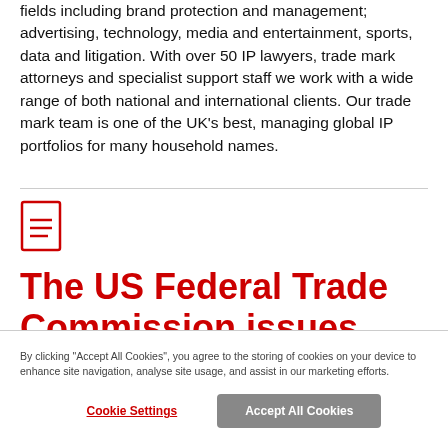fields including brand protection and management; advertising, technology, media and entertainment, sports, data and litigation. With over 50 IP lawyers, trade mark attorneys and specialist support staff we work with a wide range of both national and international clients. Our trade mark team is one of the UK's best, managing global IP portfolios for many household names.
The US Federal Trade Commission issues $5bn fine
By clicking "Accept All Cookies", you agree to the storing of cookies on your device to enhance site navigation, analyse site usage, and assist in our marketing efforts.